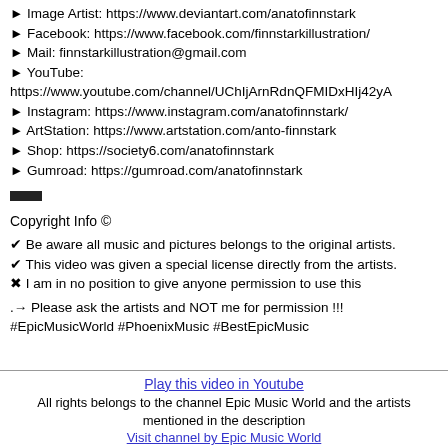► Image Artist: https://www.deviantart.com/anatofinnstark
► Facebook: https://www.facebook.com/finnstarkillustration/
► Mail: finnstarkillustration@gmail.com
► YouTube: https://www.youtube.com/channel/UChIjArnRdnQFMIDxHIj42yA
► Instagram: https://www.instagram.com/anatofinnstark/
► ArtStation: https://www.artstation.com/anto-finnstark
► Shop: https://society6.com/anatofinnstark
► Gumroad: https://gumroad.com/anatofinnstark
—
Copyright Info ©
✔ Be aware all music and pictures belongs to the original artists.
✔ This video was given a special license directly from the artists.
✖ I am in no position to give anyone permission to use this
.→ Please ask the artists and NOT me for permission !!!
#EpicMusicWorld #PhoenixMusic #BestEpicMusic
Play this video in Youtube
All rights belongs to the channel Epic Music World and the artists mentioned in the description
Visit channel by Epic Music World